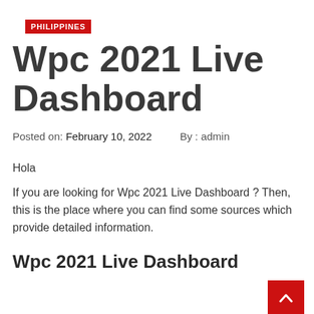PHILIPPINES
Wpc 2021 Live Dashboard
Posted on: February 10, 2022    By : admin
Hola
If you are looking for Wpc 2021 Live Dashboard ? Then, this is the place where you can find some sources which provide detailed information.
Wpc 2021 Live Dashboard